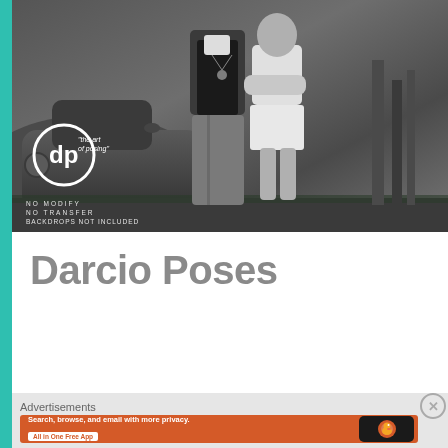[Figure (photo): Black and white photograph of two people (a man and a woman) standing in front of a vintage car. The image has a 'dp' logo overlay in white with the text 'the art of posing', and at the bottom: 'NO MODIFY', 'NO TRANSFER', 'BACKDROPS NOT INCLUDED'.]
Darcio Poses
Advertisements
[Figure (infographic): DuckDuckGo advertisement banner with orange background. Text reads: 'Search, browse, and email with more privacy. All in One Free App'. Shows a smartphone with DuckDuckGo logo and text 'DuckDuckGo.']